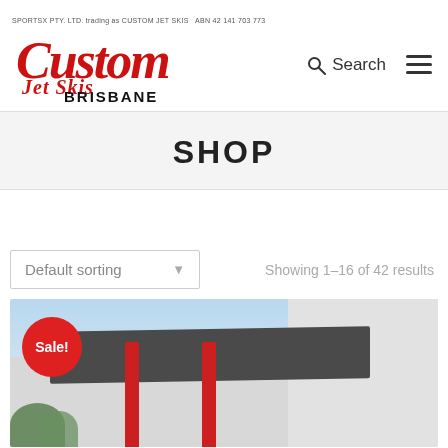SPORTSX PTY. LTD. trading as CUSTOM JET SKIS  ABN 42 141 703 773
[Figure (logo): Custom Jet Skis Brisbane logo in red script lettering with BRISBANE in bold black below]
Search
SHOP
Default sorting
Showing 1–16 of 42 results
[Figure (photo): Exterior photo of a dealership building with a dark canopy, red pillars, and trees in foreground. A red Sale! badge is overlaid in the bottom-left corner.]
Sale!